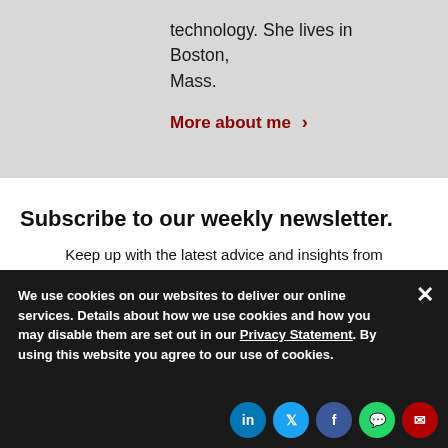technology. She lives in Boston, Mass.
More about me >
Subscribe to our weekly newsletter.
Keep up with the latest advice and insights from CIOs and IT leaders.
We use cookies on our websites to deliver our online services. Details about how we use cookies and how you may disable them are set out in our Privacy Statement. By using this website you agree to our use of cookies.